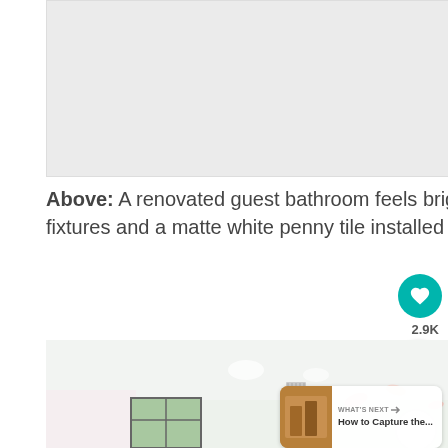[Figure (photo): Top portion of a renovated guest bathroom photo (cropped, majority cut off) showing light gray/white interior]
Above: A renovated guest bathroom feels bright and airy thanks to the addition of new modern fixtures and a matte white penny tile installed on the floor and walls.
[Figure (photo): Bottom portion of a renovated guest bathroom with light green walls, recessed ceiling lights, and floral decorations]